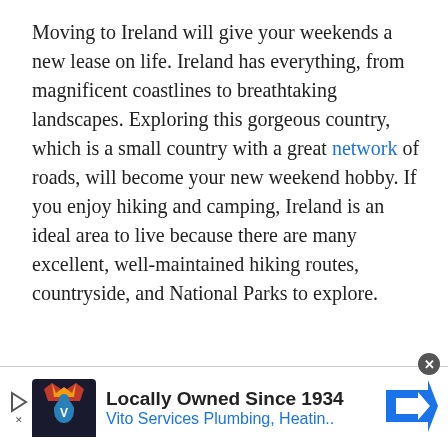Moving to Ireland will give your weekends a new lease on life. Ireland has everything, from magnificent coastlines to breathtaking landscapes. Exploring this gorgeous country, which is a small country with a great network of roads, will become your new weekend hobby. If you enjoy hiking and camping, Ireland is an ideal area to live because there are many excellent, well-maintained hiking routes, countryside, and National Parks to explore.
[Figure (other): Advertisement banner: Vito Services Plumbing, Heating. Logo with crown and figure. Text: Locally Owned Since 1934. Vito Services Plumbing, Heatin.. Blue arrow road sign icon on right.]